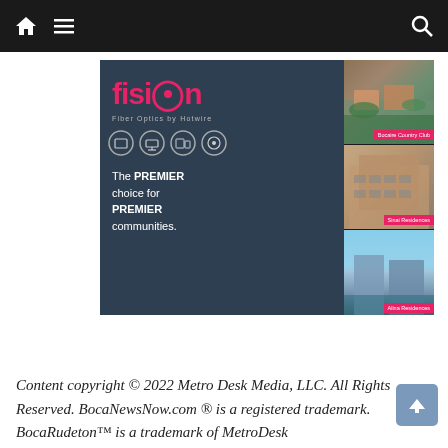Navigation bar with home, menu, and search icons
[Figure (advertisement): Fision Fiber Optics by Hotwire advertisement. Dark blue background with pink/red 'fision' logo text, tagline 'Fiber Optics by Hotwire', four circular service icons, text reading 'The PREMIER choice for PREMIER communities.' Three property photos on the right: Bocaire Country Club, Sinai Residences, Alina Residences.]
Content copyright © 2022 Metro Desk Media, LLC. All Rights Reserved. BocaNewsNow.com ® is a registered trademark. BocaRudeton™ is a trademark of MetroDesk